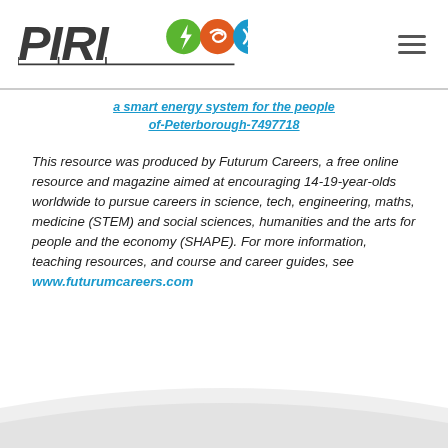[Figure (logo): PIRI logo with colorful icons (green lightning bolt, orange heat swirl, blue road/arrow) and stylized text 'PIRI' in dark gray, with a wiring/circuit graphic beneath]
a smart energy system for the people of-Peterborough-7497718
This resource was produced by Futurum Careers, a free online resource and magazine aimed at encouraging 14-19-year-olds worldwide to pursue careers in science, tech, engineering, maths, medicine (STEM) and social sciences, humanities and the arts for people and the economy (SHAPE). For more information, teaching resources, and course and career guides, see www.futurumcareers.com